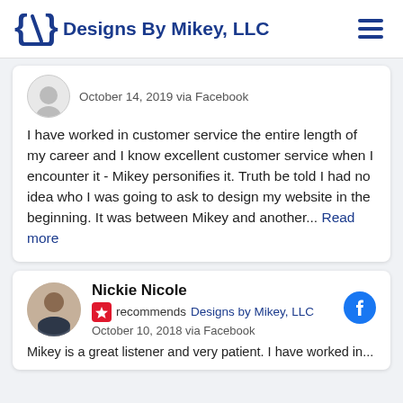Designs By Mikey, LLC
October 14, 2019 via Facebook
I have worked in customer service the entire length of my career and I know excellent customer service when I encounter it - Mikey personifies it. Truth be told I had no idea who I was going to ask to design my website in the beginning. It was between Mikey and another... Read more
Nickie Nicole
recommends Designs by Mikey, LLC
October 10, 2018 via Facebook